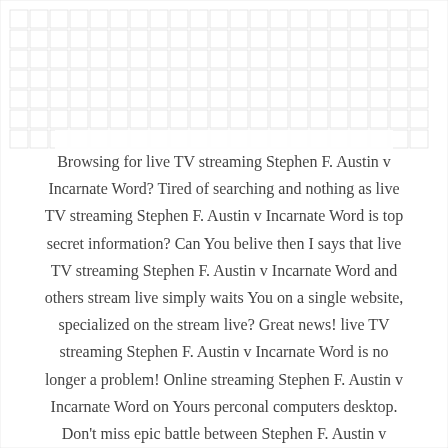Browsing for live TV streaming Stephen F. Austin v Incarnate Word? Tired of searching and nothing as live TV streaming Stephen F. Austin v Incarnate Word is top secret information? Can You belive then I says that live TV streaming Stephen F. Austin v Incarnate Word and others stream live simply waits You on a single website, specialized on the stream live? Great news! live TV streaming Stephen F. Austin v Incarnate Word is no longer a problem! Online streaming Stephen F. Austin v Incarnate Word on Yours perconal computers desktop. Don't miss epic battle between Stephen F. Austin v Incarnate Word online! Relax and have a rest – enjoy live TV streaming Stephen F. Austin v Incarnate Word and have a great time in